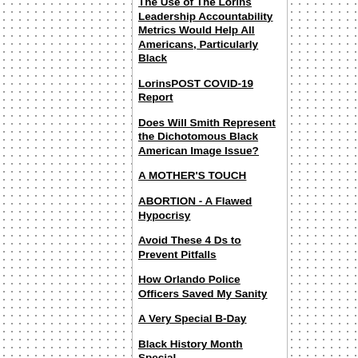The Use of The Lorins Leadership Accountability Metrics Would Help All Americans, Particularly Black
LorinsPOST COVID-19 Report
Does Will Smith Represent the Dichotomous Black American Image Issue?
A MOTHER'S TOUCH
ABORTION - A Flawed Hypocrisy
Avoid These 4 Ds to Prevent Pitfalls
How Orlando Police Officers Saved My Sanity
A Very Special B-Day
Black History Month Special
Living a Legacy-Driven Life
Does CRT Belong in American K-12